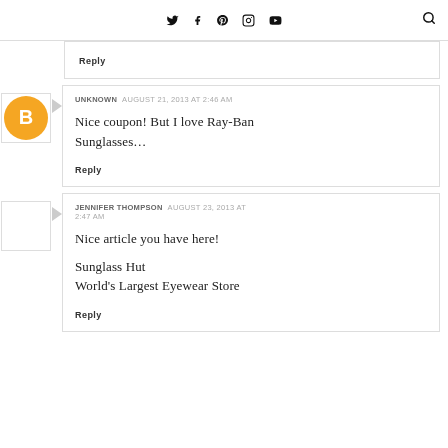Twitter Facebook Pinterest Instagram YouTube [search]
Reply
UNKNOWN  AUGUST 21, 2013 AT 2:46 AM
Nice coupon! But I love Ray-Ban Sunglasses...
Reply
JENNIFER THOMPSON  AUGUST 23, 2013 AT 2:47 AM
Nice article you have here!

Sunglass Hut
World's Largest Eyewear Store
Reply